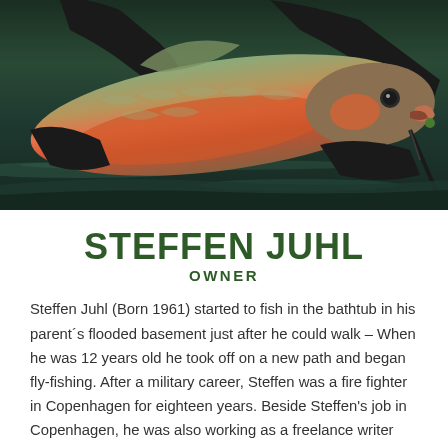[Figure (photo): A person holding a large salmon or steelhead trout fish with both hands over water. The fish is bright orange-red on its belly with a hooked jaw and a small green fishing fly visible. The background shows dark water.]
STEFFEN JUHL
OWNER
Steffen Juhl (Born 1961) started to fish in the bathtub in his parent´s flooded basement just after he could walk – When he was 12 years old he took off on a new path and began fly-fishing. After a military career, Steffen was a fire fighter in Copenhagen for eighteen years. Beside Steffen's job in Copenhagen, he was also working as a freelance writer and photographer for several magazines, and as a fly-fishing instructor for the Danish